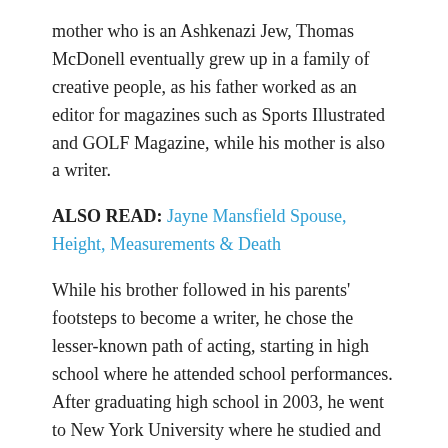mother who is an Ashkenazi Jew, Thomas McDonell eventually grew up in a family of creative people, as his father worked as an editor for magazines such as Sports Illustrated and GOLF Magazine, while his mother is also a writer.
ALSO READ: Jayne Mansfield Spouse, Height, Measurements & Death
While his brother followed in his parents' footsteps to become a writer, he chose the lesser-known path of acting, starting in high school where he attended school performances. After graduating high school in 2003, he went to New York University where he studied and graduated with a degree in theater studies.
He made his acting debut in 2008 and has not looked back